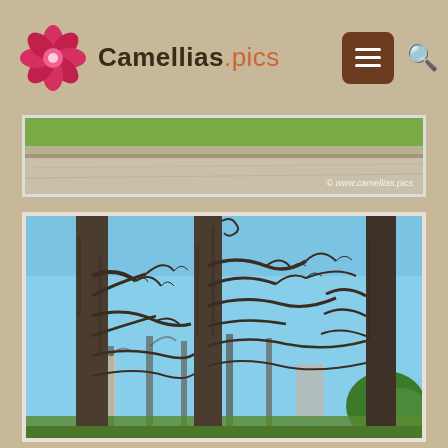Camellias.pics
[Figure (photo): Partial top photograph showing a green lawn and stone/concrete wall edge with copyright watermark '© www.camellias.pics']
[Figure (photo): Large photograph of bare deciduous trees with dark trunks against a clear blue sky, with buildings and green trees visible in the background — a park scene in winter]